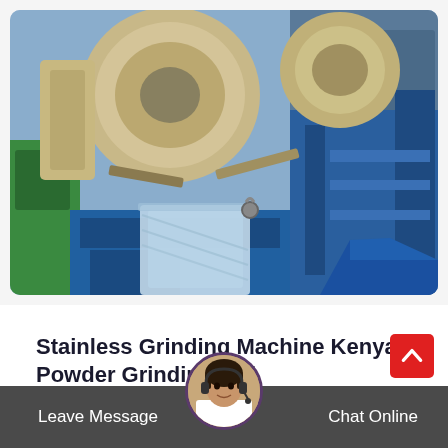[Figure (photo): Industrial grinding machines with blue and beige metal frames, partially wrapped in plastic, photographed in a warehouse or factory setting.]
Stainless Grinding Machine Kenya Powder Grinding Mill
Solutions 100th limestone crushing line in switzerland main equipments pe series jaw crusher impact crush… maker raymond…